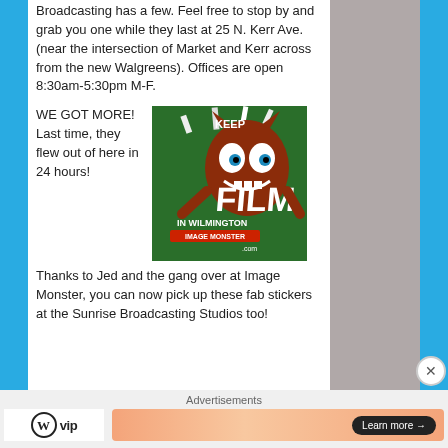Broadcasting has a few.  Feel free to stop by and grab you one while they last at 25 N. Kerr Ave. (near the intersection of Market and Kerr across from the new Walgreens). Offices are open 8:30am-5:30pm M-F.
WE GOT MORE!  Last time, they flew out of here in 24 hours!
[Figure (photo): A sticker showing a cartoon monster character holding a sign that reads KEEP FILM IN WILMINGTON, with IMAGE MONSTER branding at the bottom.]
Thanks to Jed and the gang over at Image Monster, you can now pick up these fab stickers at the Sunrise Broadcasting Studios too!
Advertisements
[Figure (logo): WordPress VIP logo with circle W icon and VIP text]
[Figure (other): Orange gradient advertisement banner with Learn more arrow button]